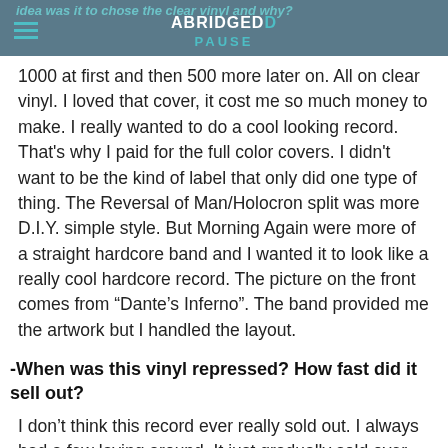idea was it to chose the clear vinyl and why? ABRIDGED PAUSE
1000 at first and then 500 more later on. All on clear vinyl. I loved that cover, it cost me so much money to make. I really wanted to do a cool looking record. That's why I paid for the full color covers. I didn't want to be the kind of label that only did one type of thing. The Reversal of Man/Holocron split was more D.I.Y. simple style. But Morning Again were more of a straight hardcore band and I wanted it to look like a really cool hardcore record. The picture on the front comes from “Dante’s Inferno”. The band provided me the artwork but I handled the layout.
-When was this vinyl repressed? How fast did it sell out?
I don’t think this record ever really sold out. I always had a few laying around. It just gradually sold over